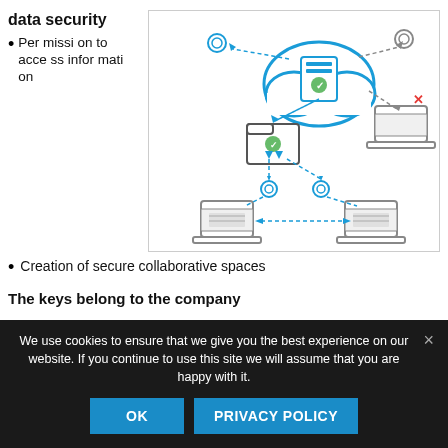data security
Permission to access information
[Figure (infographic): Cloud data security diagram showing a central cloud icon with a document, connected by dotted lines to folder icons, laptop computers, and gear/settings icons. One laptop has a red X indicating denied access.]
Creation of secure collaborative spaces
The keys belong to the company
We use cookies to ensure that we give you the best experience on our website. If you continue to use this site we will assume that you are happy with it.
OK   PRIVACY POLICY